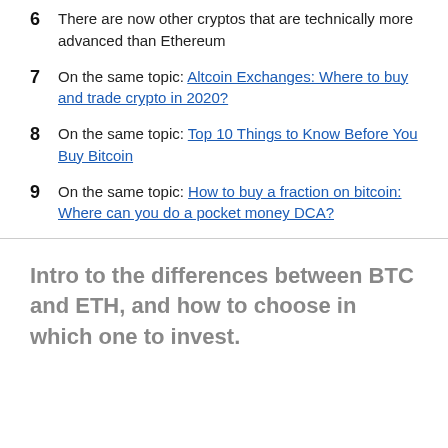6  There are now other cryptos that are technically more advanced than Ethereum
7  On the same topic: Altcoin Exchanges: Where to buy and trade crypto in 2020?
8  On the same topic: Top 10 Things to Know Before You Buy Bitcoin
9  On the same topic: How to buy a fraction on bitcoin: Where can you do a pocket money DCA?
Intro to the differences between BTC and ETH, and how to choose in which one to invest.